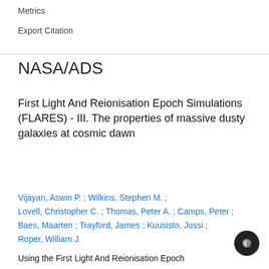Metrics
Export Citation
NASA/ADS
First Light And Reionisation Epoch Simulations (FLARES) - III. The properties of massive dusty galaxies at cosmic dawn
Vijayan, Aswin P. ;  Wilkins, Stephen M. ;  Lovell, Christopher C. ;  Thomas, Peter A. ;  Camps, Peter ;  Baes, Maarten ;  Trayford, James ;  Kuusisto, Jussi ;  Roper, William J.
Using the First Light And Reionisation Epoch